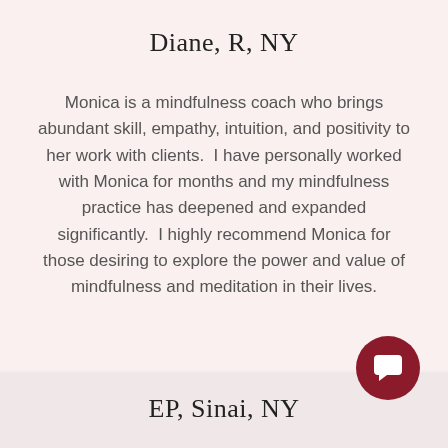Diane, R, NY
Monica is a mindfulness coach who brings abundant skill, empathy, intuition, and positivity to her work with clients.  I have personally worked with Monica for months and my mindfulness practice has deepened and expanded significantly.  I highly recommend Monica for those desiring to explore the power and value of mindfulness and meditation in their lives.
EP, Sinai, NY